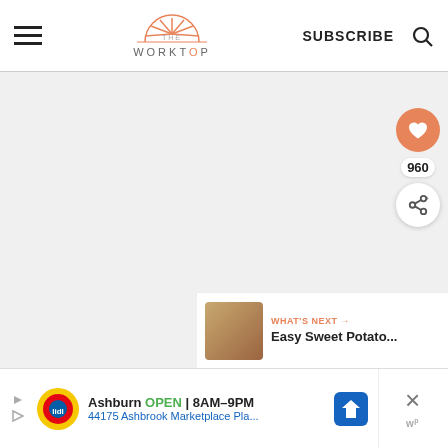The Worktop — SUBSCRIBE
[Figure (screenshot): Gray content/slideshow area with three dot indicators at the bottom center]
960
WHAT'S NEXT → Easy Sweet Potato...
Ashburn OPEN 8AM–9PM 44175 Ashbrook Marketplace Pla...